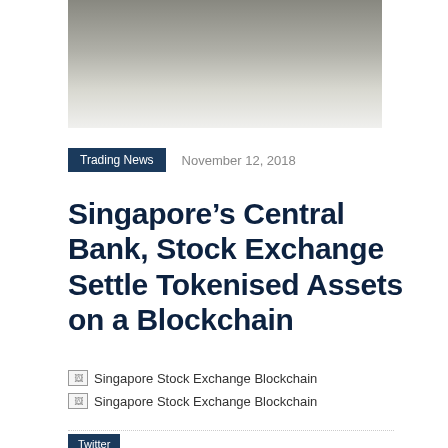[Figure (photo): Hero image area showing a grayscale/olive gradient photograph, cropped at top]
Trading News   November 12, 2018
Singapore’s Central Bank, Stock Exchange Settle Tokenised Assets on a Blockchain
[Figure (photo): Broken image placeholder: Singapore Stock Exchange Blockchain]
[Figure (photo): Broken image placeholder: Singapore Stock Exchange Blockchain]
Twitter